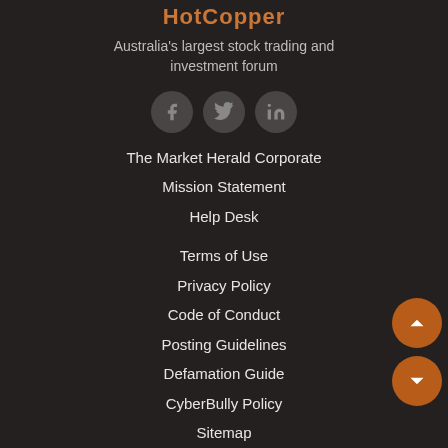HotCopper
Australia's largest stock trading and investment forum
[Figure (illustration): Three social media icon circles: Facebook, Twitter, LinkedIn]
The Market Herald Corporate
Mission Statement
Help Desk
Terms of Use
Privacy Policy
Code of Conduct
Posting Guidelines
Defamation Guide
CyberBully Policy
Sitemap
Old HotCopper